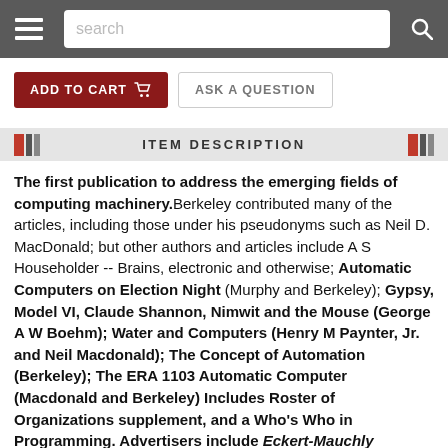search
ADD TO CART   ASK A QUESTION
ITEM DESCRIPTION
The first publication to address the emerging fields of computing machinery. Berkeley contributed many of the articles, including those under his pseudonyms such as Neil D. MacDonald; but other authors and articles include A S Householder -- Brains, electronic and otherwise; Automatic Computers on Election Night (Murphy and Berkeley); Gypsy, Model VI, Claude Shannon, Nimwit and the Mouse (George A W Boehm); Water and Computers (Henry M Paynter, Jr. and Neil Macdonald); The Concept of Automation (Berkeley); The ERA 1103 Automatic Computer (Macdonald and Berkeley) Includes Roster of Organizations supplement, and a Who's Who in Programming. Advertisers include Eckert-Mauchly